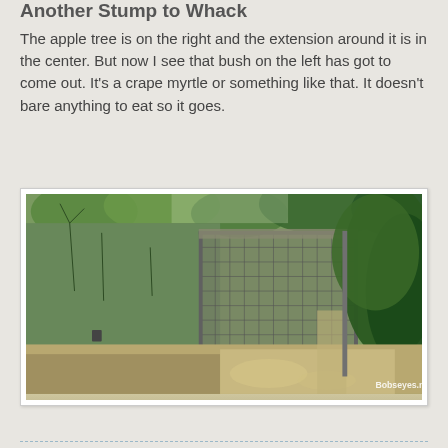Another Stump to Whack
The apple tree is on the right and the extension around it is in the center. But now I see that bush on the left has got to come out. It's a crape myrtle or something like that. It doesn't bare anything to eat so it goes.
[Figure (photo): Outdoor garden photo showing a wire mesh fence enclosure/cage structure in a yard surrounded by various trees and shrubs. The left side shows sparse trees with dark soil, the center has a rectangular wire cage or chicken-wire enclosure, and the right side shows dense green foliage. The ground has dry grass and gravel. A watermark reads 'Bobseyes.net' in the bottom right corner.]
············································································································································